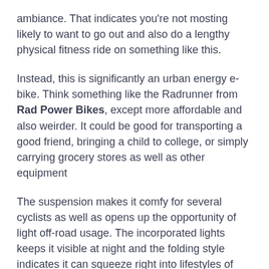ambiance. That indicates you're not mosting likely to want to go out and also do a lengthy physical fitness ride on something like this.
Instead, this is significantly an urban energy e-bike. Think something like the Radrunner from Rad Power Bikes, except more affordable and also weirder. It could be good for transporting a good friend, bringing a child to college, or simply carrying grocery stores as well as other equipment
The suspension makes it comfy for several cyclists as well as opens up the opportunity of light off-road usage. The incorporated lights keeps it visible at night and the folding style indicates it can squeeze right into lifestyles of metropolitan commuters and apartment or condo dwellers.